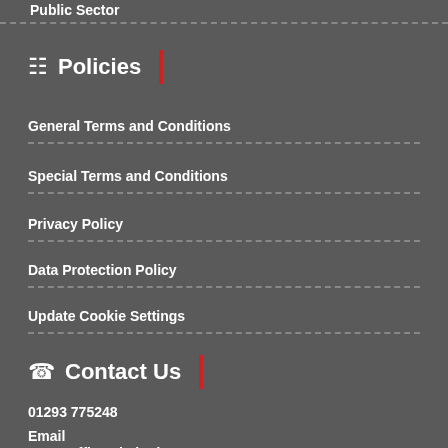Public Sector
Policies
General Terms and Conditions
Special Terms and Conditions
Privacy Policy
Data Protection Policy
Update Cookie Settings
Contact Us
01293 775248
Email
Don Ruffles Limited